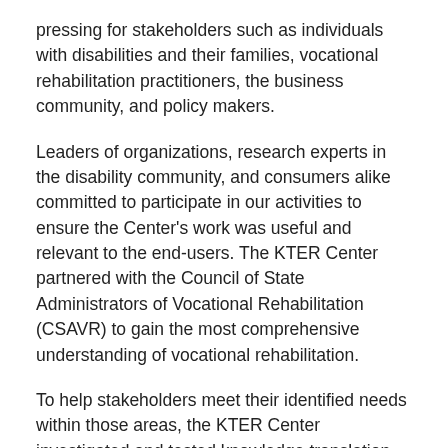pressing for stakeholders such as individuals with disabilities and their families, vocational rehabilitation practitioners, the business community, and policy makers.
Leaders of organizations, research experts in the disability community, and consumers alike committed to participate in our activities to ensure the Center's work was useful and relevant to the end-users. The KTER Center partnered with the Council of State Administrators of Vocational Rehabilitation (CSAVR) to gain the most comprehensive understanding of vocational rehabilitation.
To help stakeholders meet their identified needs within those areas, the KTER Center investigated and tested knowledge translation (KT) strategies. The Center also provided technical assistance to grantees to plan and engage in KT activities. The Center aimed to enhance grantees' understanding of KT strategies, and then support them to conduct their own research